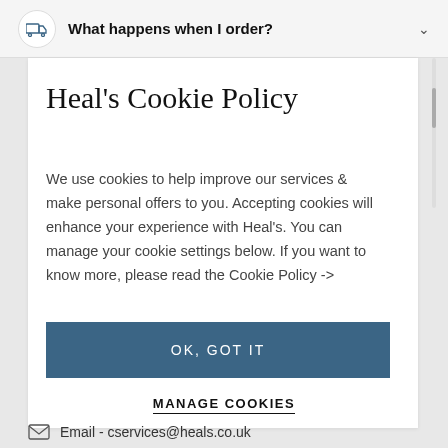What happens when I order?
Heal's Cookie Policy
We use cookies to help improve our services & make personal offers to you. Accepting cookies will enhance your experience with Heal's. You can manage your cookie settings below. If you want to know more, please read the Cookie Policy ->
OK, GOT IT
MANAGE COOKIES
Email - cservices@heals.co.uk